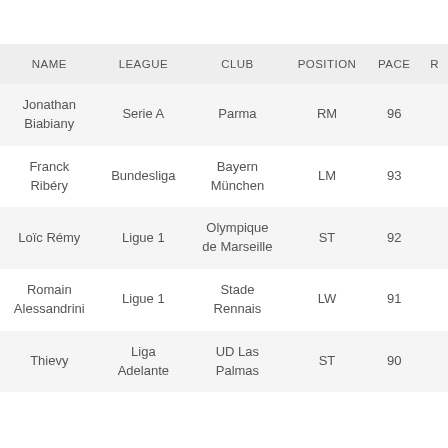| NAME | LEAGUE | CLUB | POSITION | PACE | R |
| --- | --- | --- | --- | --- | --- |
| Jonathan Biabiany | Serie A | Parma | RM | 96 |  |
| Franck Ribéry | Bundesliga | Bayern München | LM | 93 |  |
| Loïc Rémy | Ligue 1 | Olympique de Marseille | ST | 92 |  |
| Romain Alessandrini | Ligue 1 | Stade Rennais | LW | 91 |  |
| Thievy | Liga Adelante | UD Las Palmas | ST | 90 |  |